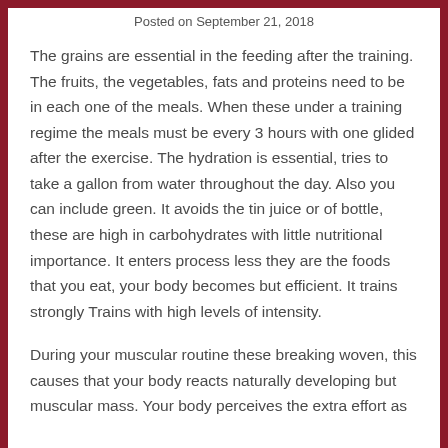Posted on September 21, 2018
The grains are essential in the feeding after the training. The fruits, the vegetables, fats and proteins need to be in each one of the meals. When these under a training regime the meals must be every 3 hours with one glided after the exercise. The hydration is essential, tries to take a gallon from water throughout the day. Also you can include green. It avoids the tin juice or of bottle, these are high in carbohydrates with little nutritional importance. It enters process less they are the foods that you eat, your body becomes but efficient. It trains strongly Trains with high levels of intensity.
During your muscular routine these breaking woven, this causes that your body reacts naturally developing but muscular mass. Your body perceives the extra effort as